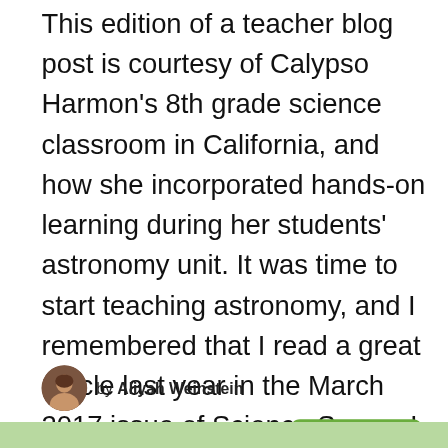This edition of a teacher blog post is courtesy of Calypso Harmon's 8th grade science classroom in California, and how she incorporated hands-on learning during her students' astronomy unit. It was time to start teaching astronomy, and I remembered that I read a great article last year in the March 2017 issue of Science Scope. I pulled …
by Aliyah Weinstein